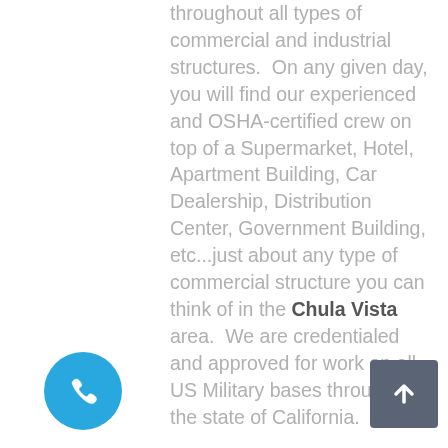throughout all types of commercial and industrial structures.  On any given day, you will find our experienced and OSHA-certified crew on top of a Supermarket, Hotel, Apartment Building, Car Dealership, Distribution Center, Government Building, etc...just about any type of commercial structure you can think of in the Chula Vista area.  We are credentialed and approved for work on all US Military bases throughout the state of California.

For any questions, or to receive an estimate, call us at (714) 631-6773 or fill out our online contact form.